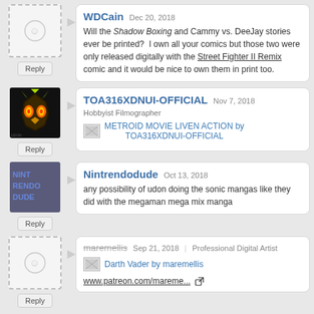WDCain  Dec 20, 2018 — Will the Shadow Boxing and Cammy vs. DeeJay stories ever be printed? I own all your comics but those two were only released digitally with the Street Fighter II Remix comic and it would be nice to own them in print too.
TOA316XDNUI-OFFICIAL  Nov 7, 2018  Hobbyist Filmographer — METROID MOVIE LIVEN ACTION by TOA316XDNUI-OFFICIAL
Nintrendodude  Oct 13, 2018 — any possibility of udon doing the sonic mangas like they did with the megaman mega mix manga
maremellis  Sep 21, 2018 | Professional Digital Artist — Darth Vader by maremellis  www.patreon.com/mareme...